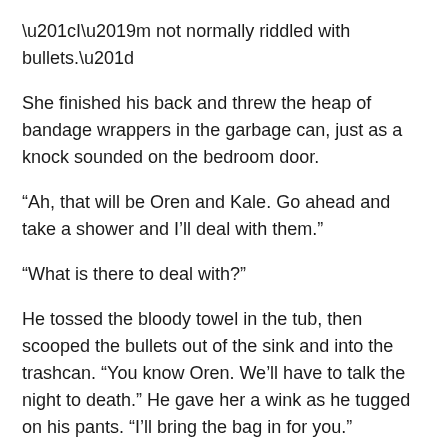“I’m not normally riddled with bullets.”
She finished his back and threw the heap of bandage wrappers in the garbage can, just as a knock sounded on the bedroom door.
“Ah, that will be Oren and Kale. Go ahead and take a shower and I’ll deal with them.”
“What is there to deal with?”
He tossed the bloody towel in the tub, then scooped the bullets out of the sink and into the trashcan. “You know Oren. We’ll have to talk the night to death.” He gave her a wink as he tugged on his pants. “I’ll bring the bag in for you.”
He left, shutting the door behind him.